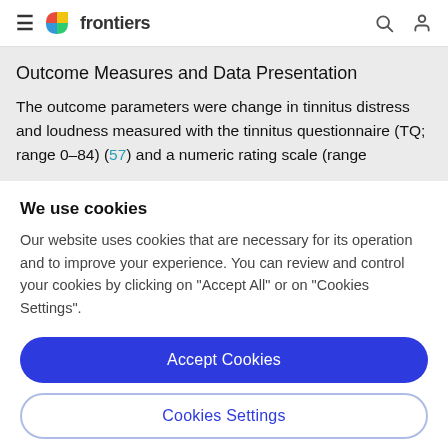frontiers
Outcome Measures and Data Presentation
The outcome parameters were change in tinnitus distress and loudness measured with the tinnitus questionnaire (TQ; range 0–84) (57) and a numeric rating scale (range
We use cookies
Our website uses cookies that are necessary for its operation and to improve your experience. You can review and control your cookies by clicking on "Accept All" or on "Cookies Settings".
Accept Cookies
Cookies Settings